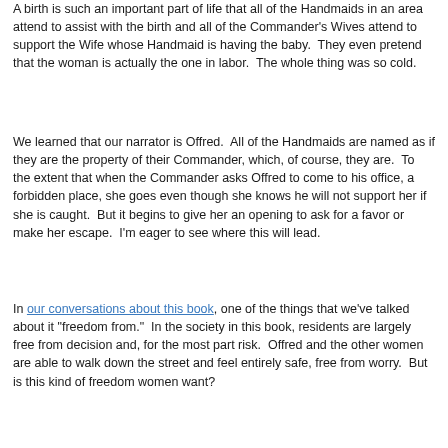A birth is such an important part of life that all of the Handmaids in an area attend to assist with the birth and all of the Commander's Wives attend to support the Wife whose Handmaid is having the baby.  They even pretend that the woman is actually the one in labor.  The whole thing was so cold.
We learned that our narrator is Offred.  All of the Handmaids are named as if they are the property of their Commander, which, of course, they are.  To the extent that when the Commander asks Offred to come to his office, a forbidden place, she goes even though she knows he will not support her if she is caught.  But it begins to give her an opening to ask for a favor or make her escape.  I'm eager to see where this will lead.
In our conversations about this book, one of the things that we've talked about it "freedom from."  In the society in this book, residents are largely free from decision and, for the most part risk.  Offred and the other women are able to walk down the street and feel entirely safe, free from worry.  But is this kind of freedom women want?